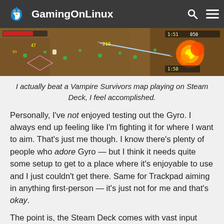GamingOnLinux
[Figure (screenshot): Screenshot of Vampire Survivors gameplay on Steam Deck showing top-down action game with explosions and enemies]
I actually beat a Vampire Survivors map playing on Steam Deck, I feel accomplished.
Personally, I've not enjoyed testing out the Gyro. I always end up feeling like I'm fighting it for where I want to aim. That's just me though. I know there's plenty of people who adore Gyro — but I think it needs quite some setup to get to a place where it's enjoyable to use and I just couldn't get there. Same for Trackpad aiming in anything first-person — it's just not for me and that's okay.
The point is, the Steam Deck comes with vast input options that should be suitable for most types of gamers. I really love the thumbsticks, some of the best I've ever used, but you can play with a...